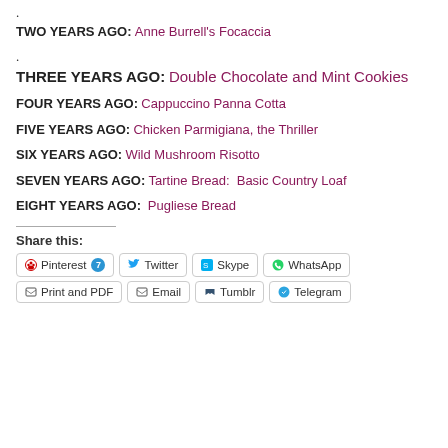.
TWO YEARS AGO: Anne Burrell's Focaccia
.
THREE YEARS AGO: Double Chocolate and Mint Cookies
FOUR YEARS AGO: Cappuccino Panna Cotta
FIVE YEARS AGO: Chicken Parmigiana, the Thriller
SIX YEARS AGO: Wild Mushroom Risotto
SEVEN YEARS AGO: Tartine Bread:  Basic Country Loaf
EIGHT YEARS AGO:  Pugliese Bread
Share this:
Pinterest | Twitter | Skype | WhatsApp | Print and PDF | Email | Tumblr | Telegram